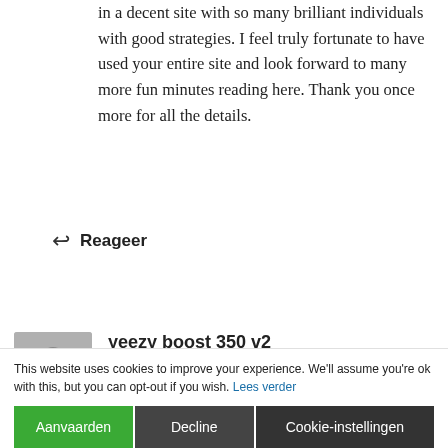in a decent site with so many brilliant individuals with good strategies. I feel truly fortunate to have used your entire site and look forward to many more fun minutes reading here. Thank you once more for all the details.
↩ Reageer
yeezy boost 350 v2
JUNI 25, 2022 OM 8:39 PM
I would like to show thanks to the writer just for bailing me out of this matter. Just after scouting through the internet and coming across tricks which are not beneficial, I was thinking my life was well over. Living devoid of the solutions to the problems you've resolved by means of your post is a serious case, as well as the ones which
This website uses cookies to improve your experience. We'll assume you're ok with this, but you can opt-out if you wish. Lees verder
Aanvaarden
Decline
Cookie-instellingen